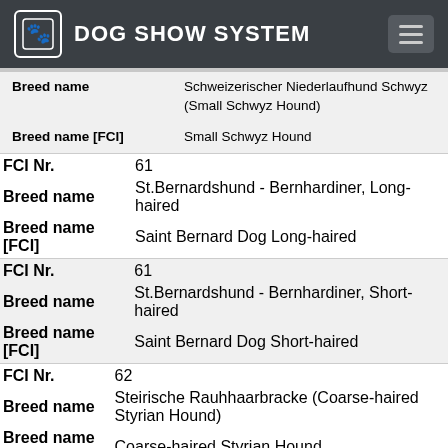DOG SHOW SYSTEM
| Field | Value |
| --- | --- |
| Breed name | Schweizerischer Niederlaufhund Schwyz (Small Schwyz Hound) |
| Breed name [FCI] | Small Schwyz Hound |
| Field | Value |
| --- | --- |
| FCI Nr. | 61 |
| Breed name | St.Bernardshund - Bernhardiner, Long-haired |
| Breed name [FCI] | Saint Bernard Dog Long-haired |
| Field | Value |
| --- | --- |
| FCI Nr. | 61 |
| Breed name | St.Bernardshund - Bernhardiner, Short-haired |
| Breed name [FCI] | Saint Bernard Dog Short-haired |
| Field | Value |
| --- | --- |
| FCI Nr. | 62 |
| Breed name | Steirische Rauhhaarbracke (Coarse-haired Styrian Hound) |
| Breed name [FCI] | Coarse-haired Styrian Hound |
| Field | Value |
| --- | --- |
| FCI Nr. | 63 |
| Breed name |  |